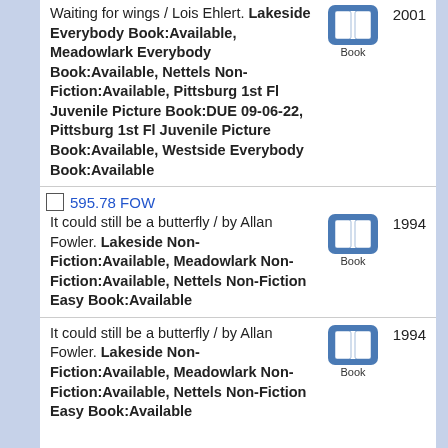Waiting for wings / Lois Ehlert. Lakeside Everybody Book:Available, Meadowlark Everybody Book:Available, Nettels Non-Fiction:Available, Pittsburg 1st Fl Juvenile Picture Book:DUE 09-06-22, Pittsburg 1st Fl Juvenile Picture Book:Available, Westside Everybody Book:Available
It could still be a butterfly / by Allan Fowler. Lakeside Non-Fiction:Available, Meadowlark Non-Fiction:Available, Nettels Non-Fiction Easy Book:Available
It could still be a butterfly / by Allan Fowler. Lakeside Non-Fiction:Available, Meadowlark Non-Fiction:Available, Nettels Non-Fiction Easy Book:Available